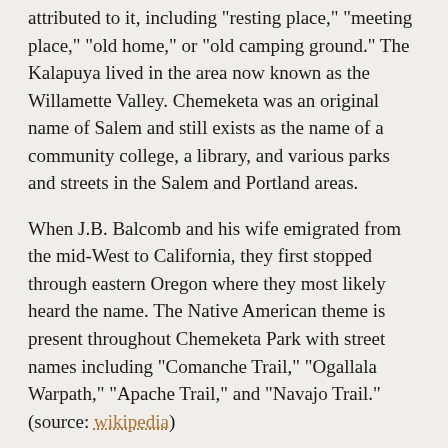attributed to it, including "resting place," "meeting place," "old home," or "old camping ground." The Kalapuya lived in the area now known as the Willamette Valley. Chemeketa was an original name of Salem and still exists as the name of a community college, a library, and various parks and streets in the Salem and Portland areas.
When J.B. Balcomb and his wife emigrated from the mid-West to California, they first stopped through eastern Oregon where they most likely heard the name. The Native American theme is present throughout Chemeketa Park with street names including "Comanche Trail," "Ogallala Warpath," "Apache Trail," and "Navajo Trail." (source: wikipedia)
The Water Company
The Chemeketa Park Mutual Water Company was incorporated in 1929 as a non-profit mutual benefit corporation. Its primary purpose is to operate a water system,